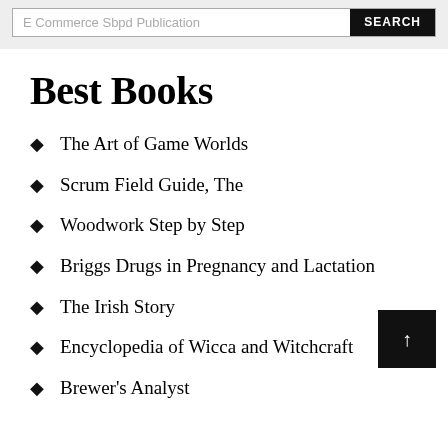E Commerce Sbpd Publication  SEARCH
Best Books
The Art of Game Worlds
Scrum Field Guide, The
Woodwork Step by Step
Briggs Drugs in Pregnancy and Lactation
The Irish Story
Encyclopedia of Wicca and Witchcraft
Brewer's Analyst